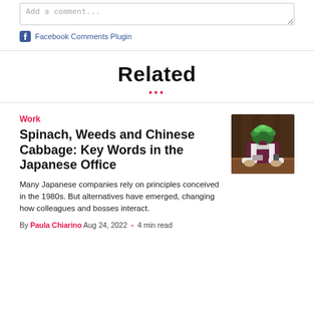Add a comment...
Facebook Comments Plugin
Related
Work
Spinach, Weeds and Chinese Cabbage: Key Words in the Japanese Office
Many Japanese companies rely on principles conceived in the 1980s. But alternatives have emerged, changing how colleagues and bosses interact.
By Paula Chiarino Aug 24, 2022 • 4 min read
[Figure (photo): A person in a burgundy vest and white shirt sitting at a desk, with their head replaced by a bunch of green leafy vegetables (spinach or similar).]